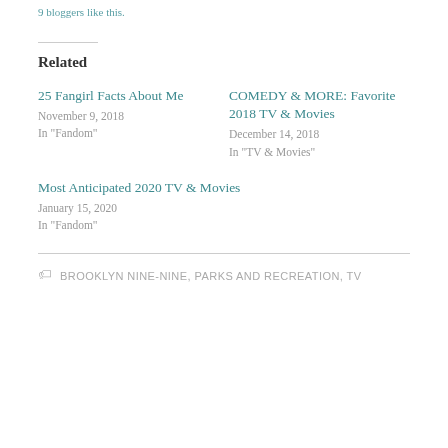9 bloggers like this.
Related
25 Fangirl Facts About Me
November 9, 2018
In "Fandom"
COMEDY & MORE: Favorite 2018 TV & Movies
December 14, 2018
In "TV & Movies"
Most Anticipated 2020 TV & Movies
January 15, 2020
In "Fandom"
BROOKLYN NINE-NINE, PARKS AND RECREATION, TV